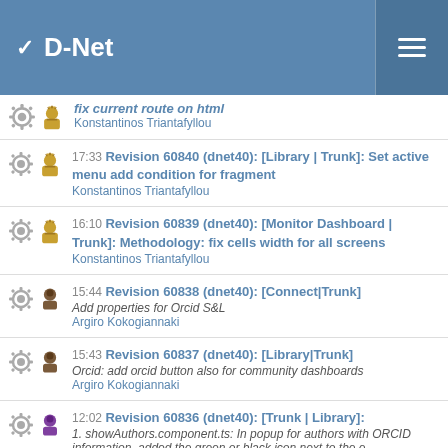D-Net
fix current route on html — Konstantinos Triantafyllou
17:33 Revision 60840 (dnet40): [Library | Trunk]: Set active menu add condition for fragment — Konstantinos Triantafyllou
16:10 Revision 60839 (dnet40): [Monitor Dashboard | Trunk]: Methodology: fix cells width for all screens — Konstantinos Triantafyllou
15:44 Revision 60838 (dnet40): [Connect|Trunk] Add properties for Orcid S&L — Argiro Kokogiannaki
15:43 Revision 60837 (dnet40): [Library|Trunk] Orcid: add orcid button also for community dashboards — Argiro Kokogiannaki
12:02 Revision 60836 (dnet40): [Trunk | Library]: 1. showAuthors.component.ts: In popup for authors with ORCID information, added the green or black icon next to the e... — Konstantina Galouni